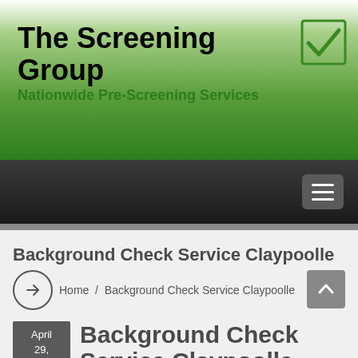[Figure (logo): The Screening Group logo with green checkmark icon and text 'The Screening Group / Nationwide Pre-Screening Services' on a green gradient background]
[Figure (screenshot): Dark navigation bar with hamburger menu button (three white lines) on right side]
Background Check Service Claypoolle
Home / Background Check Service Claypoolle
April 29, 2017
Background Check Service Claypoolle
Pre-Screening pre-screening